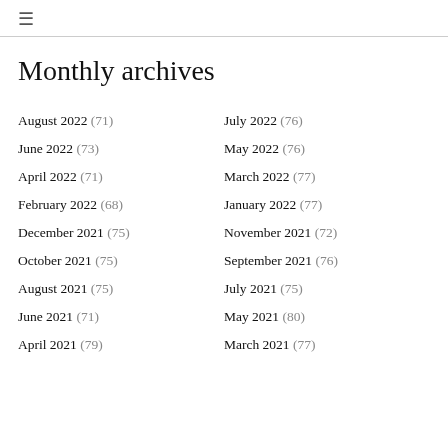≡
Monthly archives
August 2022 (71)
July 2022 (76)
June 2022 (73)
May 2022 (76)
April 2022 (71)
March 2022 (77)
February 2022 (68)
January 2022 (77)
December 2021 (75)
November 2021 (72)
October 2021 (75)
September 2021 (76)
August 2021 (75)
July 2021 (75)
June 2021 (71)
May 2021 (80)
April 2021 (79)
March 2021 (77)